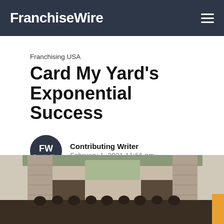FranchiseWire
Franchising USA
Card My Yard's Exponential Success
Contributing Writer
February 1, 2021 11:56 pm
[Figure (photo): Exterior photo of a building with a group of people standing in front]